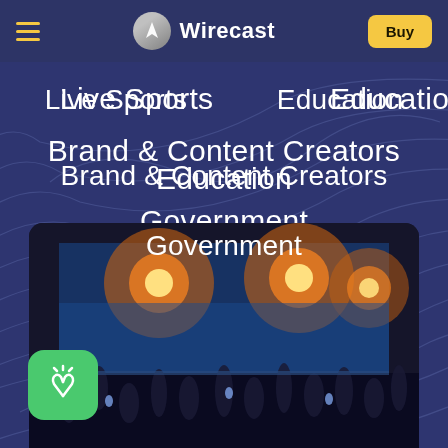Wirecast — navigation bar with hamburger menu, logo, and Buy button
Live Sports
Education
Brand & Content Creators
Government
[Figure (screenshot): Concert crowd scene viewed through a smartphone screen, with stage lights and hands raised in the air]
[Figure (logo): Green rounded square app icon with white praying hands / worship icon]